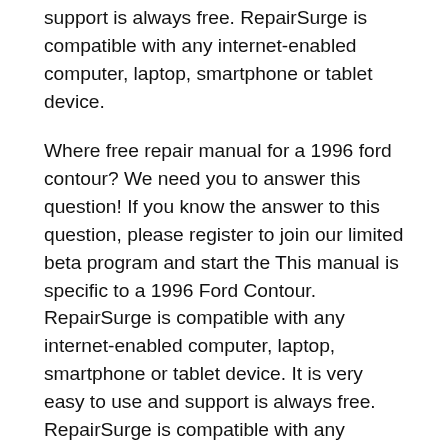support is always free. RepairSurge is compatible with any internet-enabled computer, laptop, smartphone or tablet device.
Where free repair manual for a 1996 ford contour? We need you to answer this question! If you know the answer to this question, please register to join our limited beta program and start the This manual is specific to a 1996 Ford Contour. RepairSurge is compatible with any internet-enabled computer, laptop, smartphone or tablet device. It is very easy to use and support is always free. RepairSurge is compatible with any internet-enabled computer, laptop, smartphone or tablet device.
Although the Ford Contour handled well, it was